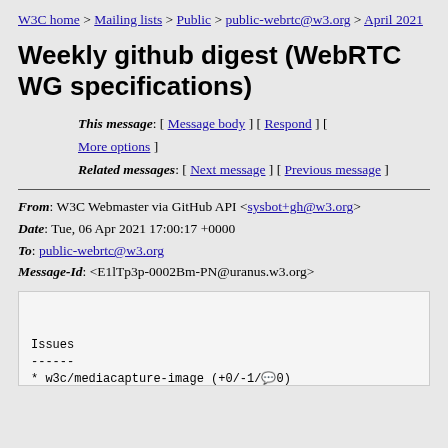W3C home > Mailing lists > Public > public-webrtc@w3.org > April 2021
Weekly github digest (WebRTC WG specifications)
This message: [ Message body ] [ Respond ] [ More options ]
Related messages: [ Next message ] [ Previous message ]
From: W3C Webmaster via GitHub API <sysbot+gh@w3.org>
Date: Tue, 06 Apr 2021 17:00:17 +0000
To: public-webrtc@w3.org
Message-Id: <E1lTp3p-0002Bm-PN@uranus.w3.org>
Issues
------
* w3c/mediacapture-image (+0/-1/💬0)